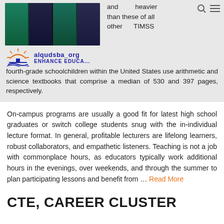[Figure (photo): Stack of textbooks shown from side view]
and heavier than these of all other TIMSS fourth-grade schoolchildren within the United States use arithmetic and science textbooks that comprise a median of 530 and 397 pages, respectively.
On-campus programs are usually a good fit for latest high school graduates or switch college students snug with the in-individual lecture format. In general, profitable lecturers are lifelong learners, robust collaborators, and empathetic listeners. Teaching is not a job with commonplace hours, as educators typically work additional hours in the evenings, over weekends, and through the summer to plan participating lessons and benefit from … Read More
CTE, CAREER CLUSTER